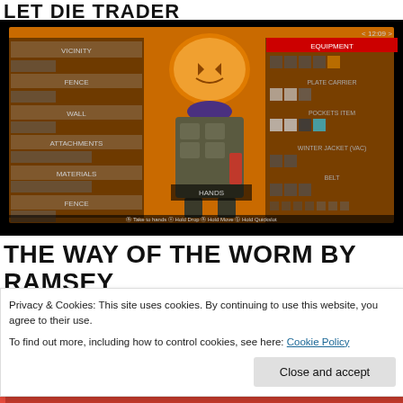LET DIE TRADER
[Figure (screenshot): A video game screenshot showing a character with a pumpkin head wearing tactical gear in an inventory/equipment screen with orange background. Multiple UI panels show items like VICINITY, FENCE, WALL, ATTACHMENTS, MATERIALS, and equipment slots including PLATE CARRIER, POCKETS ITEM, WINTER JACKET. The bottom shows controller button prompts: Take to hands, Hold Drop, Hold Move, Hold Quickslot.]
THE WAY OF THE WORM BY RAMSEY CAMPBELL
Privacy & Cookies: This site uses cookies. By continuing to use this website, you agree to their use.
To find out more, including how to control cookies, see here: Cookie Policy
Close and accept
[Figure (screenshot): Bottom bar showing social media post: '06 Apr  My Little Library Shelf (IG) @mylittlibraryshelfl' with red background and partial text 'OF THE']